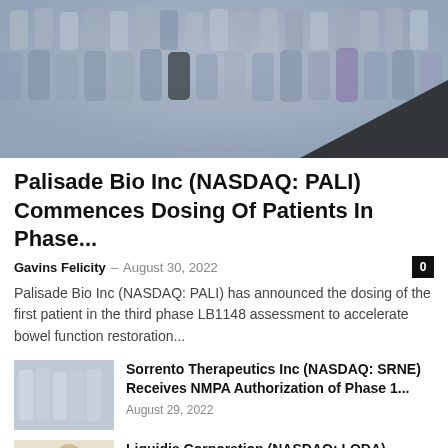[Figure (photo): Blurred image of laboratory vials/tubes arranged in rows, blue/grey tones with black diagonal element]
Palisade Bio Inc (NASDAQ: PALI) Commences Dosing Of Patients In Phase...
Gavins Felicity – August 30, 2022   0
Palisade Bio Inc (NASDAQ: PALI) has announced the dosing of the first patient in the third phase LB1148 assessment to accelerate bowel function restoration...
[Figure (photo): Laboratory bottles/flasks in white/grey tones]
Sorrento Therapeutics Inc (NASDAQ: SRNE) Receives NMPA Authorization of Phase 1...
August 29, 2022
[Figure (photo): Female researcher/scientist looking through microscope, blonde hair]
Liquidia Corporation (NASDAQ: LQDA) Announce Revenue of $3.9 million in Q2...
August 26, 2022